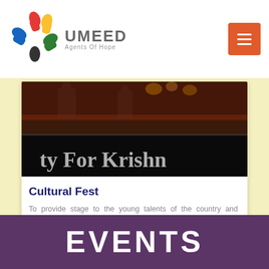[Figure (logo): UMEED Agents of Hope logo with colorful hands icon]
[Figure (photo): Dark stage banner with text 'ty For Krishn' visible, people and yellow decorations in background]
Cultural Fest
To provide stage to the young talents of the country and promote Ancient Indian Culture.
EVENTS